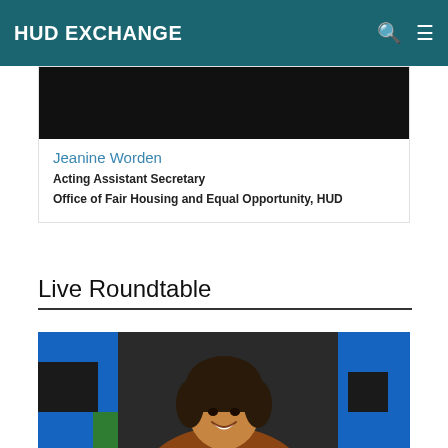HUD EXCHANGE
[Figure (photo): Dark/black image - top of a person photo card for Jeanine Worden]
Jeanine Worden
Acting Assistant Secretary
Office of Fair Housing and Equal Opportunity, HUD
Live Roundtable
[Figure (photo): Photo of a smiling woman with short dark hair in front of a blue and green background]